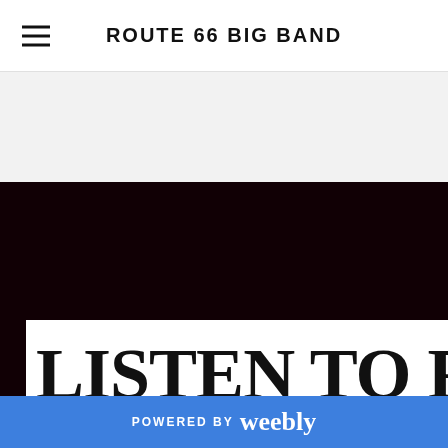ROUTE 66 BIG BAND
[Figure (screenshot): Dark maroon/black background section of a website for Route 66 Big Band]
LISTEN TO ROUTE
POWERED BY weebly